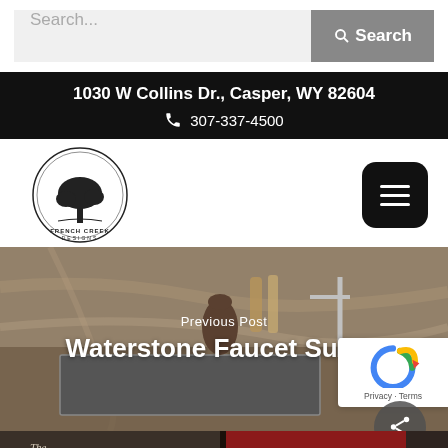[Figure (screenshot): Search bar with text input field saying 'Search...' and a grey Search button with magnifier icon]
1030 W Collins Dr., Casper, WY 82604
☎ 307-337-4500
[Figure (logo): French Creek Designs circular logo with tree illustration]
[Figure (screenshot): Hamburger menu button (three horizontal lines) on black rounded rectangle]
Previous Post
Waterstone Faucet Suites
[Figure (photo): Kitchen sink countertop with marble background, faucet, vase and wooden utensils]
Privacy · Terms
[Figure (photo): Book spine showing 'The Italian Gourmet' in dark background]